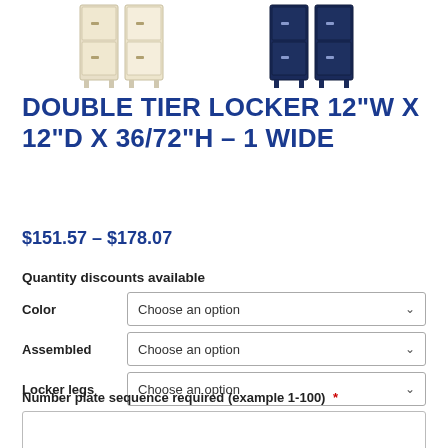[Figure (photo): Product photo showing double tier lockers in beige/tan and navy blue colors]
DOUBLE TIER LOCKER 12"W X 12"D X 36/72"H – 1 WIDE
$151.57 – $178.07
Quantity discounts available
Color: Choose an option
Assembled: Choose an option
Locker legs: Choose an option
Number plate sequence required (example 1-100) *